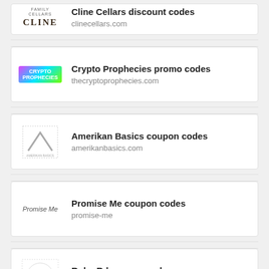Cline Cellars discount codes — clinecellars.com
Crypto Prophecies promo codes — thecryptoprophecies.com
Amerikan Basics coupon codes — amerikanbasics.com
Promise Me coupon codes — promise-me
Ruby Rd coupon codes — rubyrd.com